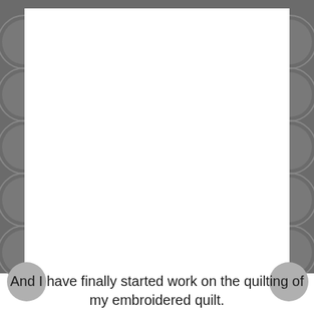[Figure (illustration): Decorative page border with dark gray background featuring repeating scallop/fan shapes along the left and right vertical edges, and two light gray circles in the bottom-left and bottom-right corners. The center is a white rectangular area.]
And I have finally started work on the quilting of my embroidered quilt.